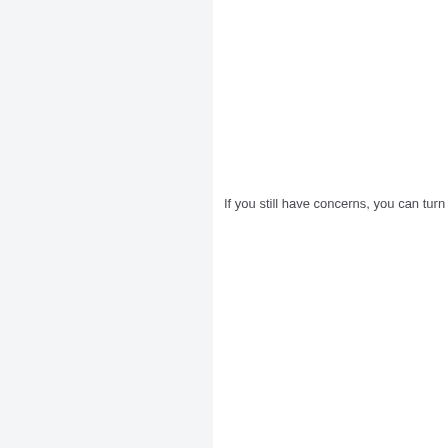If you still have concerns, you can turn